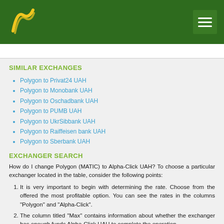Header with logo and navigation
SIMILAR EXCHANGES
Polygon to Privat24 UAH
Polygon to Monobank UAH
Polygon to Oschadbank UAH
Polygon to PUMB UAH
Polygon to UkrSibbank UAH
Polygon to Raiffeisen bank UAH
Polygon to Sberbank UAH
EXCHANGER SEARCH
How do I change Polygon (MATIC) to Alpha-Click UAH? To choose a particular exchanger located in the table, consider the following points:
It is very important to begin with determining the rate. Choose from the offered the most profitable option. You can see the rates in the columns "Polygon" and "Alpha-Click".
The column titled "Max" contains information about whether the exchanger has enough funds Alpha-Click UAH to complete the operation.
If you want to receive money as soon as possible, opt for an exchange that transfers funds automatically. There is also a manual mode – you will know